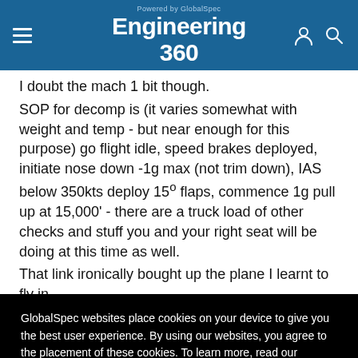Engineering 360 — Powered by GlobalSpec
I doubt the mach 1 bit though.
SOP for decomp is (it varies somewhat with weight and temp - but near enough for this purpose) go flight idle, speed brakes deployed, initiate nose down -1g max (not trim down), IAS below 350kts deploy 15º flaps, commence 1g pull up at 15,000' - there are a truck load of other checks and stuff you and your right seat will be doing at this time as well.
That link ironically bought up the plane I learnt to fly in
GlobalSpec websites place cookies on your device to give you the best user experience. By using our websites, you agree to the placement of these cookies. To learn more, read our Privacy Policy
Accept & Close